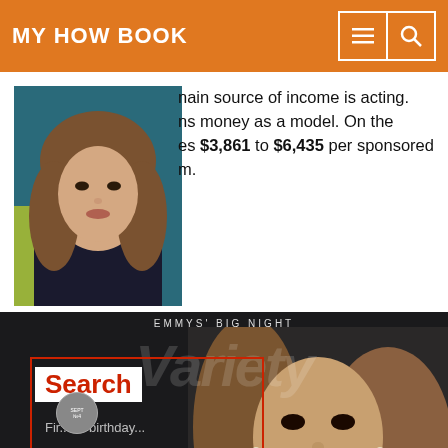MY HOW BOOK
[Figure (photo): Portrait photo of a young woman with long brown wavy hair against a teal/green background]
nain source of income is acting. ns money as a model. On the es $3,861 to $6,435 per sponsored m.
[Figure (screenshot): Variety magazine cover showing Emmys' Big Night issue with Jodie Comer, overlaid with a Search birthday finder widget with January month dropdown and day dropdown showing 1]